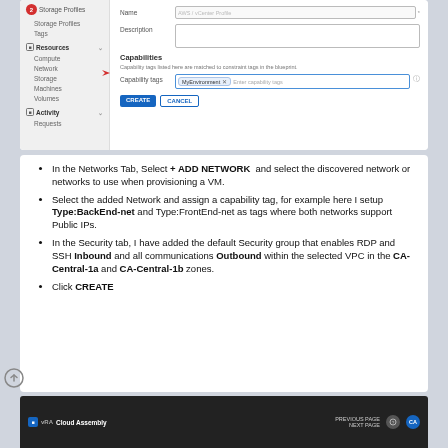[Figure (screenshot): Screenshot of a cloud management UI showing a navigation sidebar with Storage Profiles, Tags, Resources (Compute, Network, Storage, Machines, Volumes), Activity (Requests) on the left, and a form on the right with Name, Description, Capabilities section with Capability tags field containing a tag chip, and CREATE/CANCEL buttons. A red arrow points to the Capability tags field.]
In the Networks Tab, Select + ADD NETWORK and select the discovered network or networks to use when provisioning a VM.
Select the added Network and assign a capability tag, for example here I setup Type:BackEnd-net and Type:FrontEnd-net as tags where both networks support Public IPs.
In the Security tab, I have added the default Security group that enables RDP and SSH Inbound and all communications Outbound within the selected VPC in the CA-Central-1a and CA-Central-1b zones.
Click CREATE
[Figure (screenshot): Bottom strip showing Cloud Assembly dark-themed application bar with logo and menu items.]